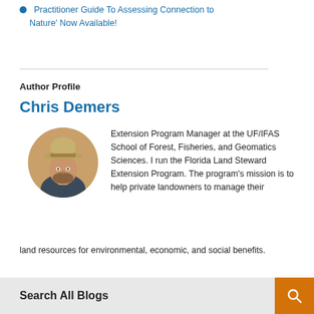Practitioner Guide To Assessing Connection to Nature' Now Available!
Author Profile
Chris Demers
[Figure (photo): Circular headshot photo of Chris Demers, a man wearing a wide-brimmed hat]
Extension Program Manager at the UF/IFAS School of Forest, Fisheries, and Geomatics Sciences. I run the Florida Land Steward Extension Program. The program's mission is to help private landowners to manage their land resources for environmental, economic, and social benefits.
Search All Blogs